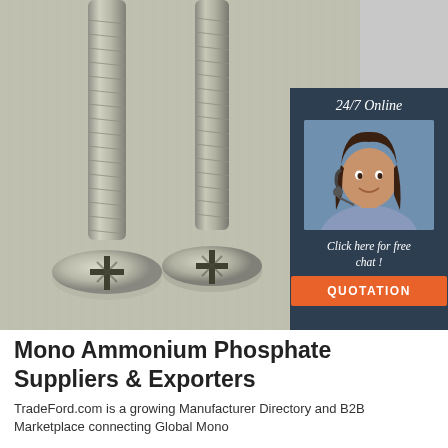[Figure (photo): Two metallic Phillips-head screws lying on a grey metallic surface with a watermark reading 'MONO...N' in the background. To the right is a chat widget with '24/7 Online' text, a photo of a woman with a headset smiling, text 'Click here for free chat!', and an orange 'QUOTATION' button.]
Mono Ammonium Phosphate Suppliers & Exporters
TradeFord.com is a growing Manufacturer Directory and B2B Marketplace connecting Global Mono